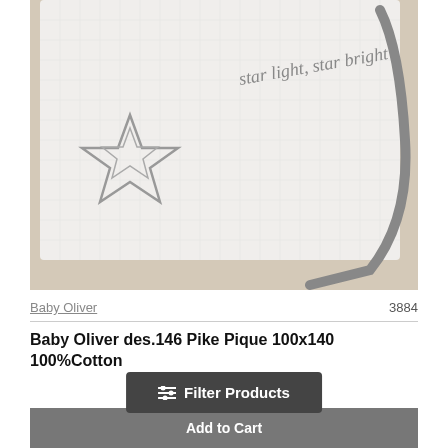[Figure (photo): White waffle-weave baby blanket with gray star embroidery and text 'star light, star bright' on a beige background]
Baby Oliver    3884
Baby Oliver des.146 Pike Pique 100x140 100%Cotton
Filter Products
Add to Cart